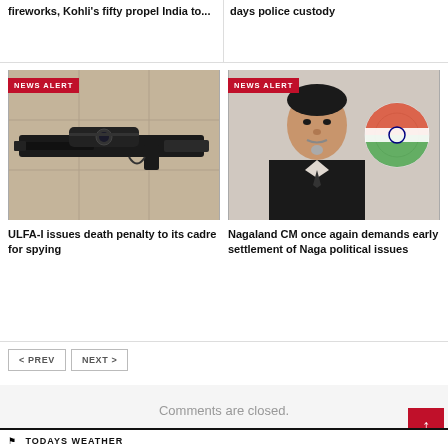fireworks, Kohli's fifty propel India to...
days police custody
[Figure (photo): Close-up photo of a rifle with scope on a tiled surface. NEWS ALERT badge overlay.]
ULFA-I issues death penalty to its cadre for spying
[Figure (photo): Photo of a man in a suit, appearing to be a politician or official, with an Indian flag symbol visible in the background. NEWS ALERT badge overlay.]
Nagaland CM once again demands early settlement of Naga political issues
< PREV
NEXT >
Comments are closed.
TODAYS WEATHER